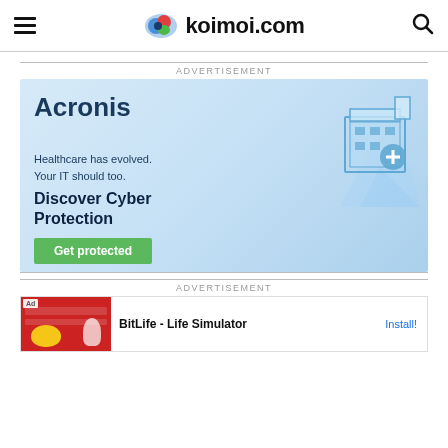koimoi.com
ADVERTISEMENT
[Figure (illustration): Acronis advertisement banner: light blue gradient background with building illustration, text 'Acronis', 'Healthcare has evolved. Your IT should too.', 'Discover Cyber Protection', green 'Get protected' button]
ADVERTISEMENT
[Figure (illustration): BitLife - Life Simulator app advertisement with red banner image on left and Install button on right]